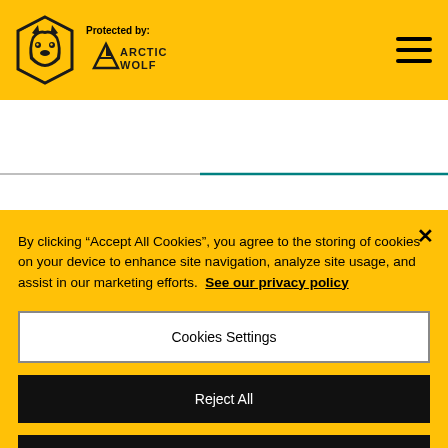Protected by: ARCTIC WOLF
By clicking "Accept All Cookies", you agree to the storing of cookies on your device to enhance site navigation, analyze site usage, and assist in our marketing efforts. See our privacy policy
Cookies Settings
Reject All
Accept All Cookies